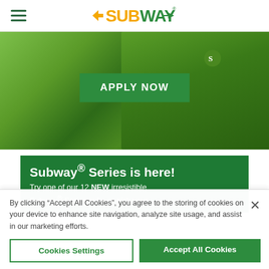SUBWAY (logo with hamburger menu)
[Figure (photo): Hero banner image showing a person wearing a green Subway branded long-sleeve shirt, with an 'APPLY NOW' button overlaid in the center]
Subway® Series is here! Try one of our 12 NEW irresistible Subway® Series subs or pick your
By clicking "Accept All Cookies", you agree to the storing of cookies on your device to enhance site navigation, analyze site usage, and assist in our marketing efforts.
Cookies Settings
Accept All Cookies